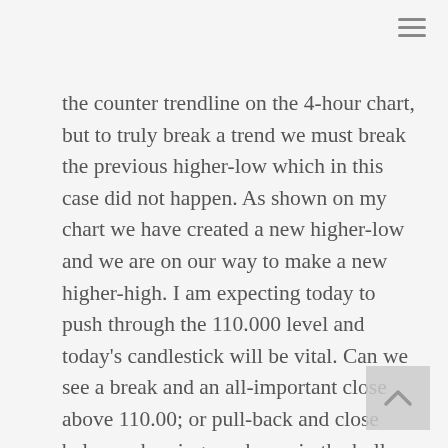the counter trendline on the 4-hour chart, but to truly break a trend we must break the previous higher-low which in this case did not happen. As shown on my chart we have created a new higher-low and we are on our way to make a new higher-high. I am expecting today to push through the 110.000 level and today's candlestick will be vital. Can we see a break and an all-important close above 110.00; or pull-back and close below - showing weakness in the bulls and demonstrating the bears are entering the market. This area is critical and needs to be watched carefully and with lots of patience.
The bigger timeframes always prevail's and show us what the overall bias and direction of the